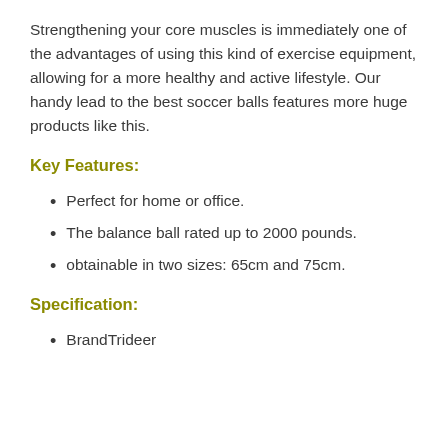Strengthening your core muscles is immediately one of the advantages of using this kind of exercise equipment, allowing for a more healthy and active lifestyle. Our handy lead to the best soccer balls features more huge products like this.
Key Features:
Perfect for home or office.
The balance ball rated up to 2000 pounds.
obtainable in two sizes: 65cm and 75cm.
Specification:
BrandTrideer